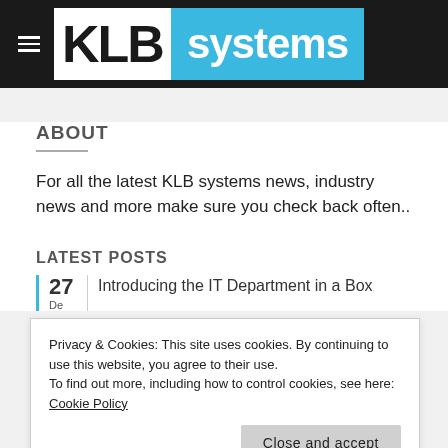KLB systems
ABOUT
For all the latest KLB systems news, industry news and more make sure you check back often..
LATEST POSTS
Privacy & Cookies: This site uses cookies. By continuing to use this website, you agree to their use.
To find out more, including how to control cookies, see here: Cookie Policy
Close and accept
27 | Introducing the IT Department in a Box